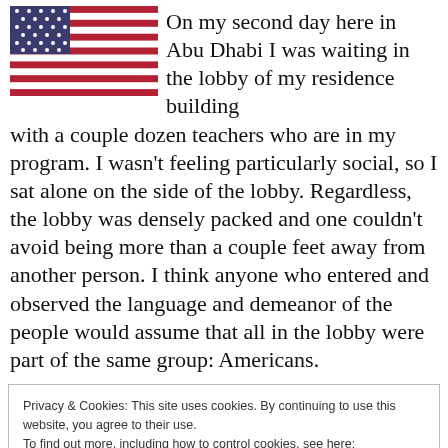[Figure (photo): American flag photo, red and white stripes with blue canton area visible at top left]
On my second day here in Abu Dhabi I was waiting in the lobby of my residence building with a couple dozen teachers who are in my program. I wasn't feeling particularly social, so I sat alone on the side of the lobby. Regardless, the lobby was densely packed and one couldn't avoid being more than a couple feet away from another person. I think anyone who entered and observed the language and demeanor of the people would assume that all in the lobby were part of the same group: Americans.
Privacy & Cookies: This site uses cookies. By continuing to use this website, you agree to their use.
To find out more, including how to control cookies, see here:
Cookie Policy
Interestingly, I was excluded from these kind